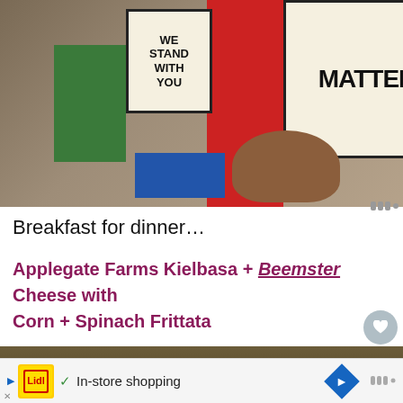[Figure (photo): Protest art painting showing signs reading 'WE STAND WITH YOU' and 'MATTER' with a brown hand holding the sign and a red figure in the middle, colorful painted artwork]
Breakfast for dinner…
Applegate Farms Kielbasa + Beemster Cheese with Corn + Spinach Frittata
[Figure (photo): Food photography showing a frittata or egg dish with vegetables on a dark background, with a 'What's Next' overlay showing a thumbnail and text 'From Open Sky To The...']
WHAT'S NEXT → From Open Sky To The...
[Figure (other): Advertisement bar with Lidl logo, checkmark, 'In-store shopping' text, and navigation arrow icon]